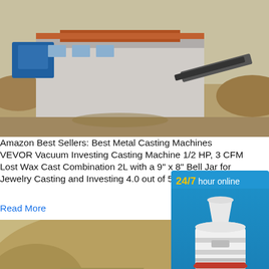[Figure (photo): Aerial view of a metal casting / mining machinery setup at an outdoor site with sandy terrain]
Amazon Best Sellers: Best Metal Casting Machines
VEVOR Vacuum Investing Casting Machine 1/2 HP, 3 CFM Lost Wax Cast Combination 2L with a 9" x 8" Bell Jar for Jewelry Casting and Investing 4.0 out of 5 stars 10 $801.31
Read More
[Figure (photo): Mobile metal casting / crushing machine at a rocky quarry outdoor site]
Bulk-buy Metal Casting Machinery Drum Sand Dr...
Bulkbuy Metal Casting Machinery Drum Sa... comparison, get China Metal Casting Mach... Drencher price comparison from Drum San... Machine manufacturers suppliers on Video...
[Figure (infographic): Sidebar advertisement: 24/7 hour online, cone crusher machine image, Click me to chat>> button, Enquiry, limingjlmofen]